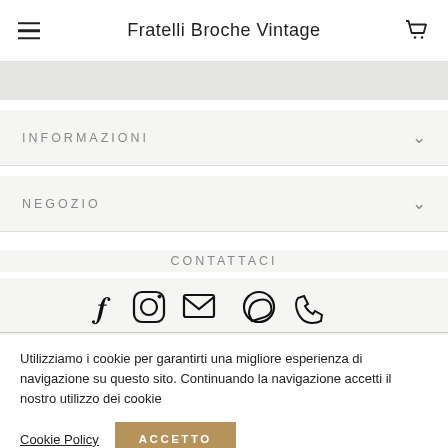Fratelli Broche Vintage
INFORMAZIONI
NEGOZIO
CONTATTACI
[Figure (infographic): Social media icons: Facebook, Instagram, Email, WhatsApp, Phone]
Utilizziamo i cookie per garantirti una migliore esperienza di navigazione su questo sito. Continuando la navigazione accetti il nostro utilizzo dei cookie
Cookie Policy
ACCETTO